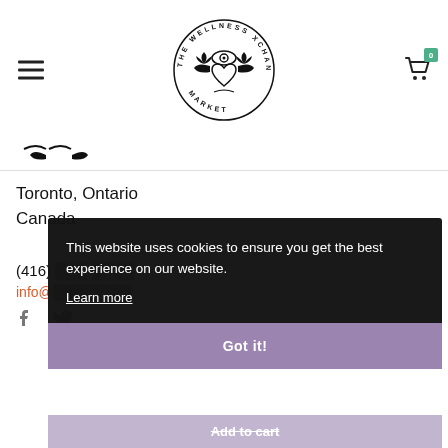[Figure (logo): The Wellness Xchange Market circular logo with eye and heart design]
Toronto, Ontario
Canada
(416) [redacted]
info@[redacted]
This website uses cookies to ensure you get the best experience on our website.
Learn more
Got it!
Add to cart